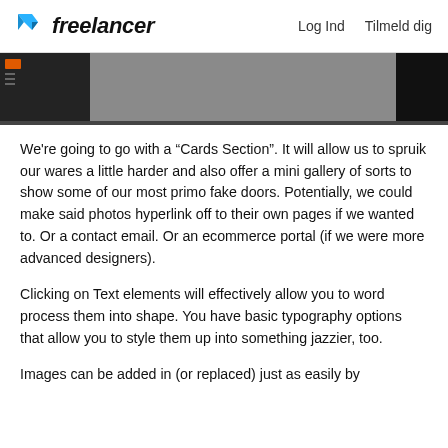freelancer   Log Ind   Tilmeld dig
[Figure (screenshot): Partial screenshot of a dark UI editor interface with left panel and right panel visible]
We're going to go with a “Cards Section”. It will allow us to spruik our wares a little harder and also offer a mini gallery of sorts to show some of our most primo fake doors. Potentially, we could make said photos hyperlink off to their own pages if we wanted to. Or a contact email. Or an ecommerce portal (if we were more advanced designers).
Clicking on Text elements will effectively allow you to word process them into shape. You have basic typography options that allow you to style them up into something jazzier, too.
Images can be added in (or replaced) just as easily by